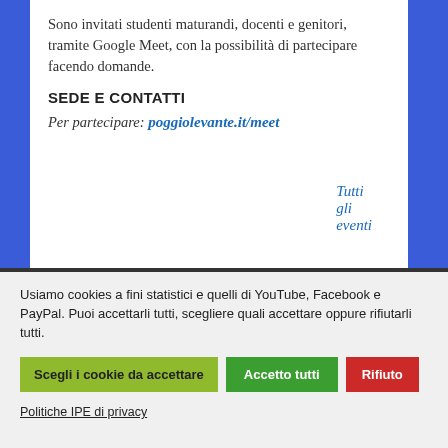Sono invitati studenti maturandi, docenti e genitori, tramite Google Meet, con la possibilità di partecipare facendo domande.
SEDE E CONTATTI
Per partecipare: poggiolevante.it/meet
Tutti gli eventi
Usiamo cookies a fini statistici e quelli di YouTube, Facebook e PayPal. Puoi accettarli tutti, scegliere quali accettare oppure rifiutarli tutti.
Scegli i cookie da accettare
Accetto tutti
Rifiuto
Politiche IPE di privacy